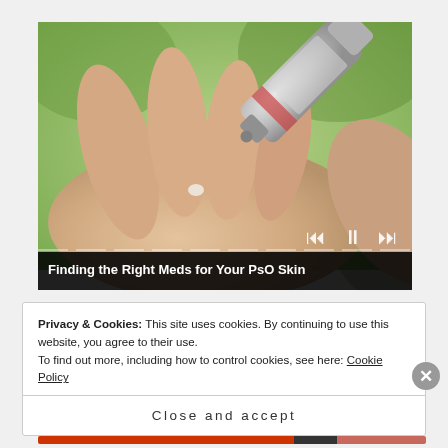[Figure (screenshot): Video player screenshot showing a hand being touched by a cream tube applicator, with green blurred background. Title bar reads 'Finding the Right Meds for Your PsO Skin'. Media controls (skip back, pause, skip forward) are visible at bottom right.]
Privacy & Cookies: This site uses cookies. By continuing to use this website, you agree to their use.
To find out more, including how to control cookies, see here: Cookie Policy
Close and accept